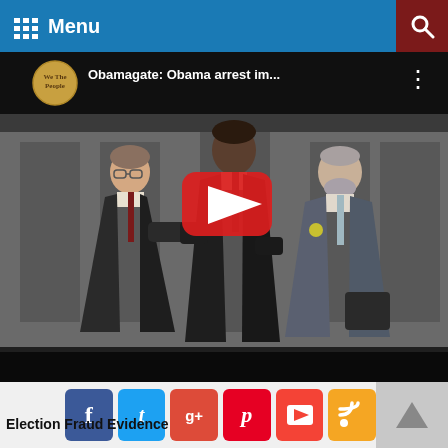Menu
[Figure (screenshot): YouTube video thumbnail showing three men in suits walking, titled 'Obamagate: Obama arrest im...' with a YouTube play button overlay]
Election Fraud Evidence